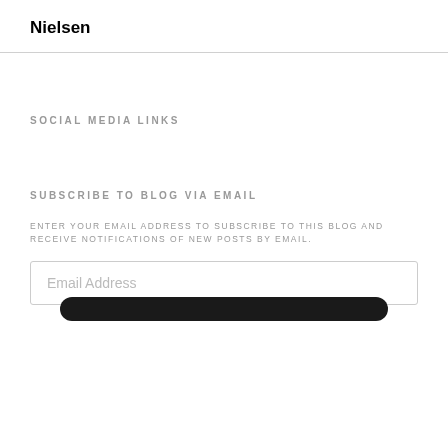Nielsen
SOCIAL MEDIA LINKS
SUBSCRIBE TO BLOG VIA EMAIL
ENTER YOUR EMAIL ADDRESS TO SUBSCRIBE TO THIS BLOG AND RECEIVE NOTIFICATIONS OF NEW POSTS BY EMAIL.
Email Address